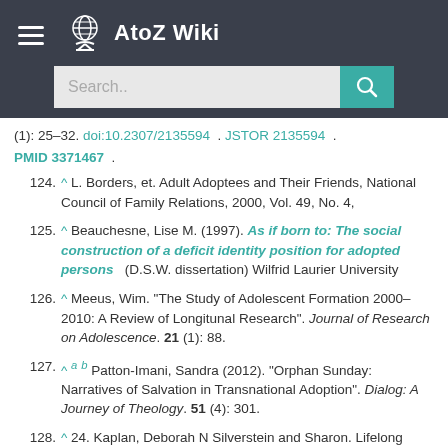AtoZ Wiki
(1): 25–32. doi:10.2307/2135594 . JSTOR 2135594 . PMID 3371467 .
124. ^ L. Borders, et. Adult Adoptees and Their Friends, National Council of Family Relations, 2000, Vol. 49, No. 4,
125. ^ Beauchesne, Lise M. (1997). As if born to: The social construction of a deficit identity position for adopted persons (D.S.W. dissertation) Wilfrid Laurier University
126. ^ Meeus, Wim. "The Study of Adolescent Formation 2000–2010: A Review of Longitunal Research". Journal of Research on Adolescence. 21 (1): 88.
127. ^ a b Patton-Imani, Sandra (2012). "Orphan Sunday: Narratives of Salvation in Transnational Adoption". Dialog: A Journey of Theology. 51 (4): 301.
128. ^ 24. Kaplan, Deborah N Silverstein and Sharon. Lifelong